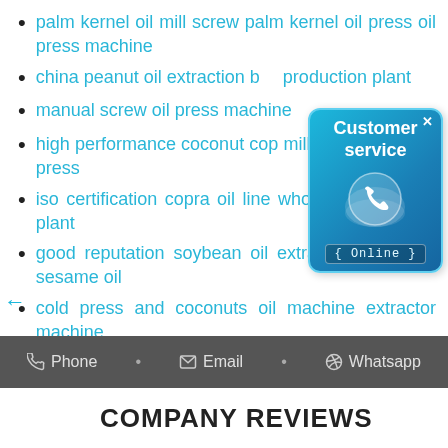palm kernel oil mill screw palm kernel oil press oil press machine
china peanut oil extraction b… production plant
manual screw oil press machine
high performance coconut cop… mill copra screw oil press
iso certification copra oil line wholesale copra oil plant
good reputation soybean oil extraction hydraulic sesame oil
cold press and coconuts oil machine extractor machine
[Figure (illustration): Customer service popup widget with phone icon and Online label, blue gradient background]
Phone • Email • Whatsapp
COMPANY REVIEWS